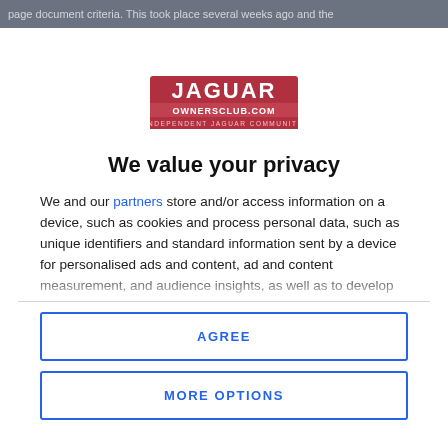page document criteria. This took place several weeks ago and the
[Figure (logo): Jaguar Owners Club logo — jaguarownersclub.com Independent Jaguar Community]
We value your privacy
We and our partners store and/or access information on a device, such as cookies and process personal data, such as unique identifiers and standard information sent by a device for personalised ads and content, ad and content measurement, and audience insights, as well as to develop and improve products. With your permission we and our partners may use precise geolocation data and identification through device scanning. You may click to consent to our and our partners'
AGREE
MORE OPTIONS